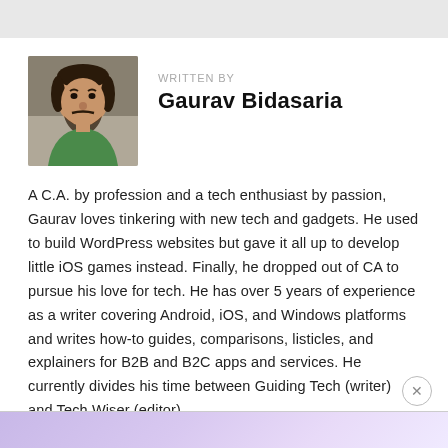[Figure (photo): Author photo of Gaurav Bidasaria, a man with short dark hair and beard wearing a green shirt]
WRITTEN BY
Gaurav Bidasaria
A C.A. by profession and a tech enthusiast by passion, Gaurav loves tinkering with new tech and gadgets. He used to build WordPress websites but gave it all up to develop little iOS games instead. Finally, he dropped out of CA to pursue his love for tech. He has over 5 years of experience as a writer covering Android, iOS, and Windows platforms and writes how-to guides, comparisons, listicles, and explainers for B2B and B2C apps and services. He currently divides his time between Guiding Tech (writer) and Tech Wiser (editor).